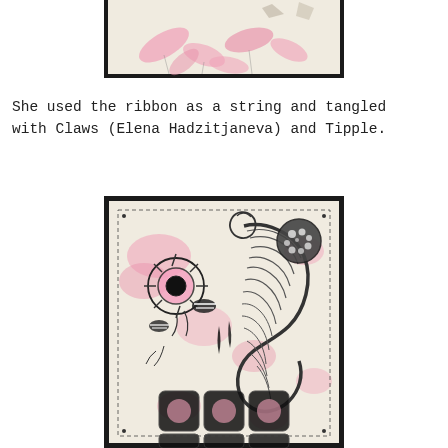[Figure (illustration): Top portion of a framed artwork showing pink flower/leaf shapes on a light background with small geometric shapes at top]
She used the ribbon as a string and tangled with Claws (Elena Hadzitjaneva) and Tipple.
[Figure (illustration): Framed artwork featuring intricate zentangle-style drawing with pink watercolor background, including a sun/flower shape, spiral forms, geometric grid pattern at bottom, and various organic shapes in black ink]